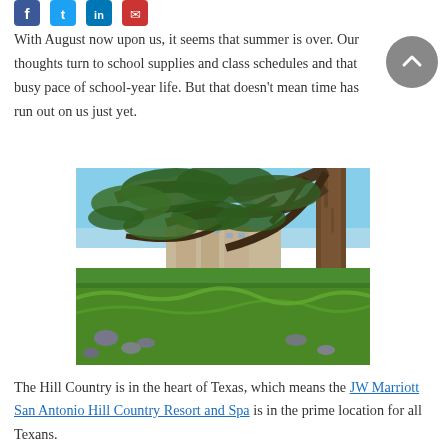[Figure (other): Social media share icons: Facebook (blue circle), Twitter (blue bird circle), LinkedIn (blue circle), Email (red circle)]
With August now upon us, it seems that summer is over. Our thoughts turn to school supplies and class schedules and that busy pace of school-year life. But that doesn't mean time has run out on us just yet.
[Figure (photo): Outdoor landscape photo showing a large oak tree with sprawling branches in the foreground, green meadow with wildflowers in the middle ground, and a large resort building (JW Marriott San Antonio Hill Country Resort and Spa) visible in the background under a blue sky.]
The Hill Country is in the heart of Texas, which means the JW Marriott San Antonio Hill Country Resort and Spa is in the prime location for all Texans.